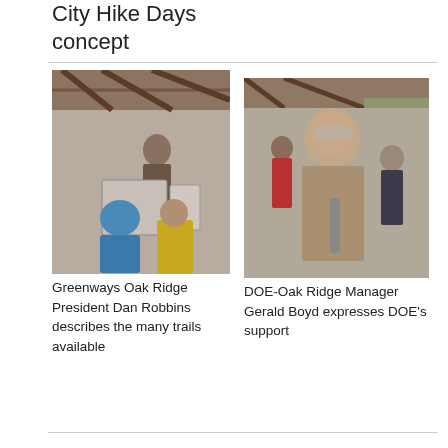City Hike Days concept
[Figure (photo): People gathered under a wooden shelter looking at display boards, one person in a blue jacket visible from behind]
[Figure (photo): Man in a tan jacket standing under a wooden shelter, possibly speaking to a group]
Greenways Oak Ridge President Dan Robbins describes the many trails available
DOE-Oak Ridge Manager Gerald Boyd expresses DOE's support